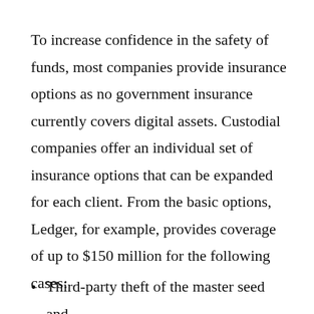To increase confidence in the safety of funds, most companies provide insurance options as no government insurance currently covers digital assets. Custodial companies offer an individual set of insurance options that can be expanded for each client. From the basic options, Ledger, for example, provides coverage of up to $150 million for the following cases:
Third-party theft of the master seed and